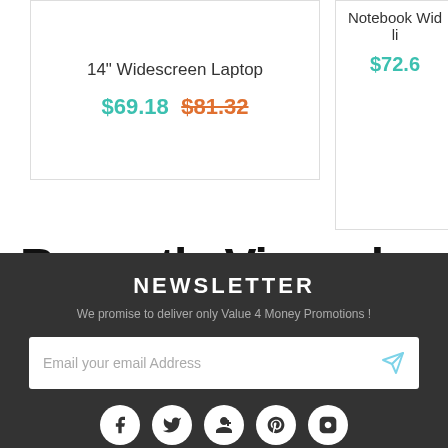14" Widescreen Laptop
$69.18  $81.32
Notebook Wid... li...
$72.6...
Recently Viewed Items
NEWSLETTER
We promise to deliver only Value 4 Money Promotions !
Email your email Address